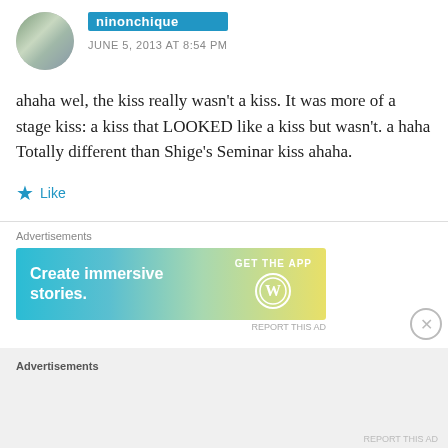[Figure (photo): Circular avatar photo of a woman outdoors with dark hair and blue scarf]
ninonchique
JUNE 5, 2013 AT 8:54 PM
ahaha wel, the kiss really wasn't a kiss. It was more of a stage kiss: a kiss that LOOKED like a kiss but wasn't. a haha Totally different than Shige's Seminar kiss ahaha.
Like
Advertisements
[Figure (screenshot): WordPress advertisement banner: Create immersive stories. GET THE APP with WordPress logo]
REPORT THIS AD
Advertisements
REPORT THIS AD